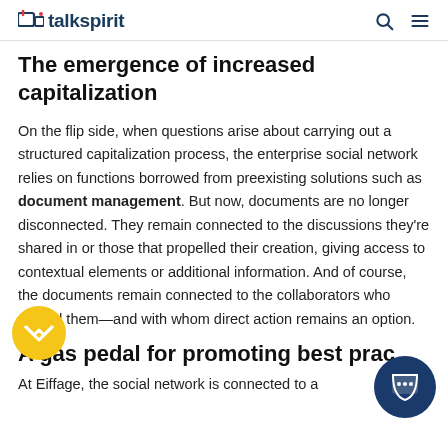talkspirit
The emergence of increased capitalization
On the flip side, when questions arise about carrying out a structured capitalization process, the enterprise social network relies on functions borrowed from preexisting solutions such as document management. But now, documents are no longer disconnected. They remain connected to the discussions they're shared in or those that propelled their creation, giving access to contextual elements or additional information. And of course, the documents remain connected to the collaborators who shared them—and with whom direct action remains an option.
A gas pedal for promoting best practices
At Eiffage, the social network is connected to a